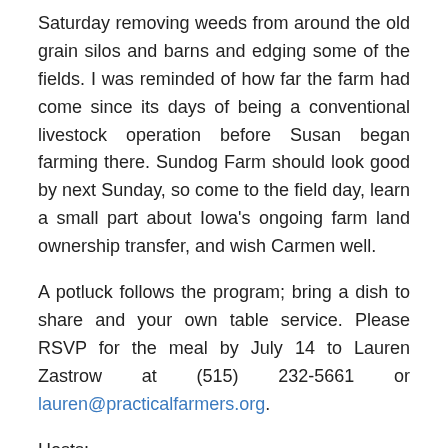Saturday removing weeds from around the old grain silos and barns and edging some of the fields. I was reminded of how far the farm had come since its days of being a conventional livestock operation before Susan began farming there. Sundog Farm should look good by next Sunday, so come to the field day, learn a small part about Iowa's ongoing farm land ownership transfer, and wish Carmen well.
A potluck follows the program; bring a dish to share and your own table service. Please RSVP for the meal by July 14 to Lauren Zastrow at (515) 232-5661 or lauren@practicalfarmers.org.
Hosts:
Susan Jutz and Carmen Black
ZJ Farm and Sundog Farm